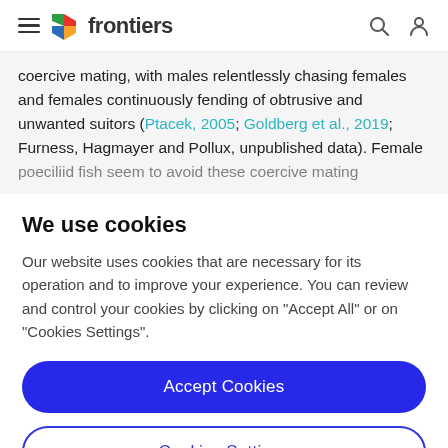frontiers
coercive mating, with males relentlessly chasing females and females continuously fending of obtrusive and unwanted suitors (Ptacek, 2005; Goldberg et al., 2019; Furness, Hagmayer and Pollux, unpublished data). Female poeciliid fish seem to avoid these coercive mating
We use cookies
Our website uses cookies that are necessary for its operation and to improve your experience. You can review and control your cookies by clicking on "Accept All" or on "Cookies Settings".
Accept Cookies
Cookies Settings